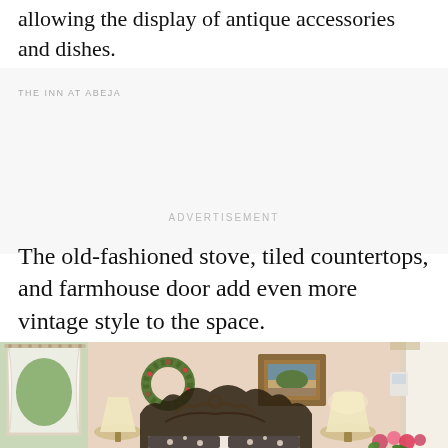allowing the display of antique accessories and dishes.
THE INN AT ABEJA
ADVERTISEMENT
The old-fashioned stove, tiled countertops, and farmhouse door add even more vintage style to the space.
[Figure (photo): Interior bedroom photo of The Inn at Abeja showing a cozy room with warm beige walls, curtained windows, a wreath, a framed painting, two bedside lamps, and an ornate iron headboard with floral bedding.]